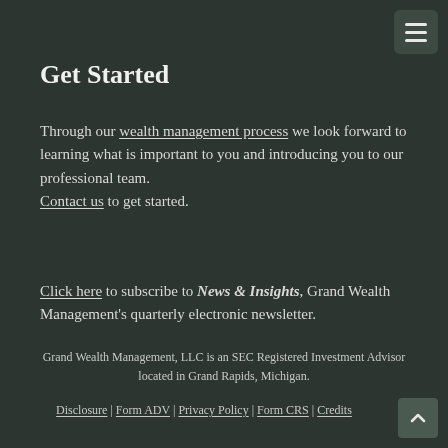Get Started
Through our wealth management process we look forward to learning what is important to you and introducing you to our professional team. Contact us to get started.
Click here to subscribe to News & Insights, Grand Wealth Management's quarterly electronic newsletter.
Grand Wealth Management, LLC is an SEC Registered Investment Advisor located in Grand Rapids, Michigan.
Disclosure | Form ADV | Privacy Policy | Form CRS | Credits